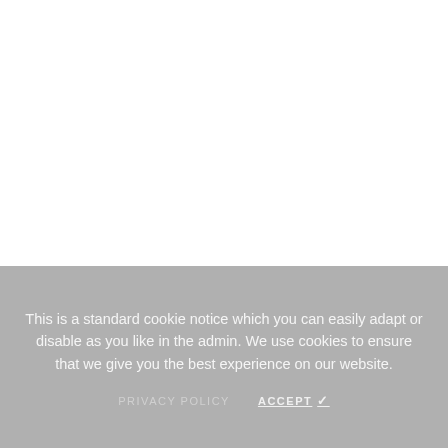[Figure (screenshot): White empty area representing a webpage content area with a small sidebar/panel toggle button on the right edge]
This is a standard cookie notice which you can easily adapt or disable as you like in the admin. We use cookies to ensure that we give you the best experience on our website.
PRIVACY POLICY   ACCEPT ✓